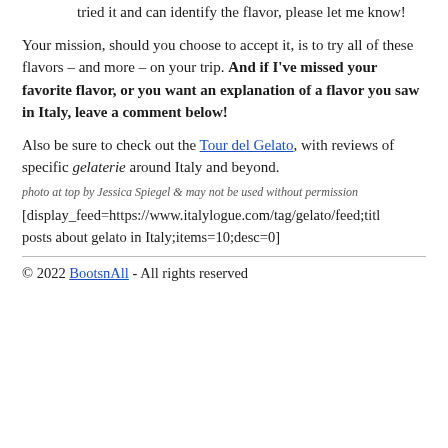tried it and can identify the flavor, please let me know!
Your mission, should you choose to accept it, is to try all of these flavors – and more – on your trip. And if I've missed your favorite flavor, or you want an explanation of a flavor you saw in Italy, leave a comment below!
Also be sure to check out the Tour del Gelato, with reviews of specific gelaterie around Italy and beyond.
photo at top by Jessica Spiegel & may not be used without permission
[display_feed=https://www.italylogue.com/tag/gelato/feed;title=posts about gelato in Italy;items=10;desc=0]
© 2022 BootsnAll - All rights reserved